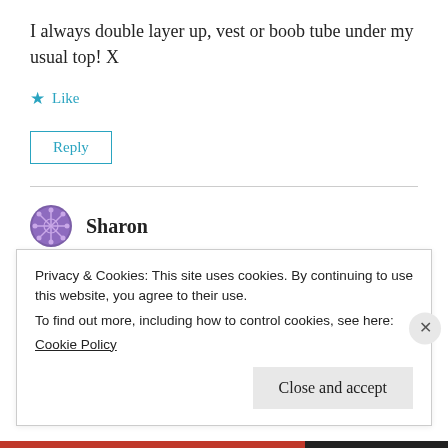I always double layer up, vest or boob tube under my usual top! X
★ Like
Reply
Sharon
October 29, 2014 at 1:52 pm
Privacy & Cookies: This site uses cookies. By continuing to use this website, you agree to their use.
To find out more, including how to control cookies, see here:
Cookie Policy
Close and accept